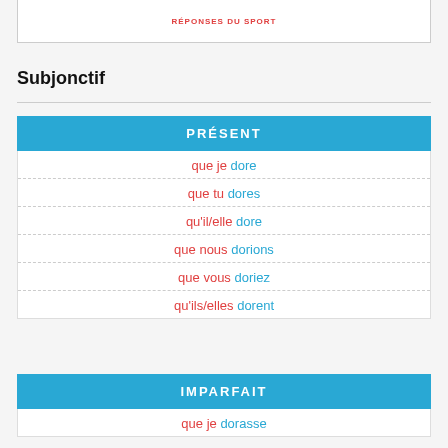RÉPONSES DU SPORT (truncated top)
Subjonctif
| PRÉSENT |
| --- |
| que je dore |
| que tu dores |
| qu'il/elle dore |
| que nous dorions |
| que vous doriez |
| qu'ils/elles dorent |
| IMPARFAIT |
| --- |
| que je dorasse |